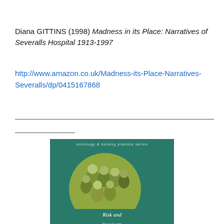Diana GITTINS (1998) Madness in its Place: Narratives of Severalls Hospital 1913-1997
http://www.amazon.co.uk/Madness-its-Place-Narratives-Severalls/dp/0415167868
[Figure (photo): Book cover of 'Risk and Nursing Practice' by Paul Godin, part of the Sociology & Nursing Practice Series. The cover features a teal/green background with a circular image showing a group of people. The book title 'Risk and Nursing Practice' and author name 'Paul Godin' are displayed at the bottom of the cover.]